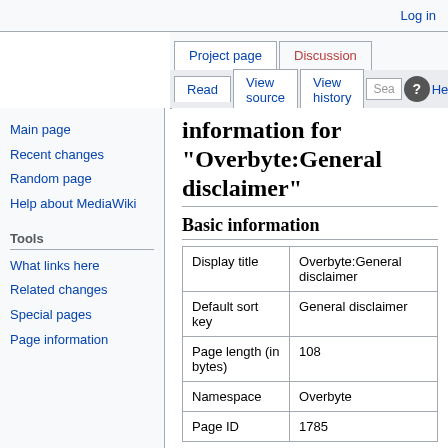Log in
Project page | Discussion | Read | View source | View history | Search | Help
information for "Overbyte:General disclaimer"
Basic information
Main page
Recent changes
Random page
Help about MediaWiki
Tools
What links here
Related changes
Special pages
Page information
|  |  |
| --- | --- |
| Display title | Overbyte:General disclaimer |
| Default sort key | General disclaimer |
| Page length (in bytes) | 108 |
| Namespace | Overbyte |
| Page ID | 1785 |